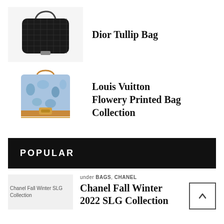[Figure (photo): Black quilted Dior Tullip bag with top handle against light background]
Dior Tullip Bag
[Figure (photo): Louis Vuitton floral printed shoulder bag with tan leather strap and hardware]
Louis Vuitton Flowery Printed Bag Collection
POPULAR
[Figure (photo): Chanel Fall Winter SLG Collection image thumbnail (broken image placeholder)]
under BAGS, CHANEL
Chanel Fall Winter 2022 SLG Collection